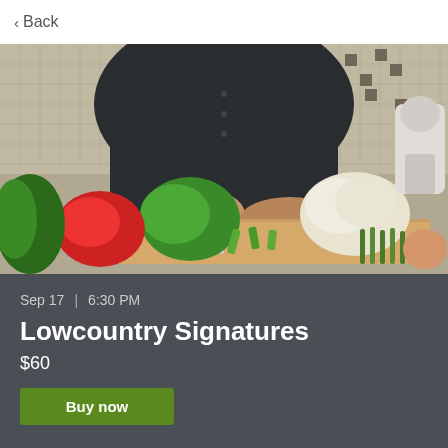< Back
[Figure (photo): A chef or cook in a dark jacket chopping green vegetables on a wooden cutting board. Surrounding the cutting board are various fresh vegetables including red and green bell peppers, cauliflower, asparagus, corn, and leafy greens. In the background is a mosaic tile backsplash and a white stand mixer.]
Sep 17  |  6:30 PM
Lowcountry Signatures
$60
Buy now